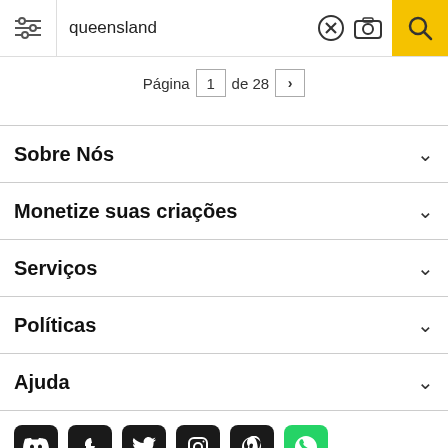queensland
Página 1 de 28 >
Sobre Nós
Monetize suas criações
Serviços
Políticas
Ajuda
[Figure (other): Social media icons: Discord, Facebook, Twitter, Instagram, Pinterest, WhatsApp]
Todos os direitos reservados. © Inmagine Lab Pte Ltd 2022.